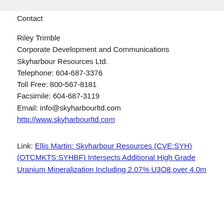Contact
Riley Trimble
Corporate Development and Communications
Skyharbour Resources Ltd.
Telephone: 604-687-3376
Toll Free: 800-567-8181
Facsimile: 604-687-3119
Email: info@skyharbourltd.com
http://www.skyharbourltd.com
Link: Ellis Martin: Skyharbour Resources (CVE:SYH) (OTCMKTS:SYHBF) Intersects Additional High Grade Uranium Mineralization Including 2.07% U3O8 over 4.0m